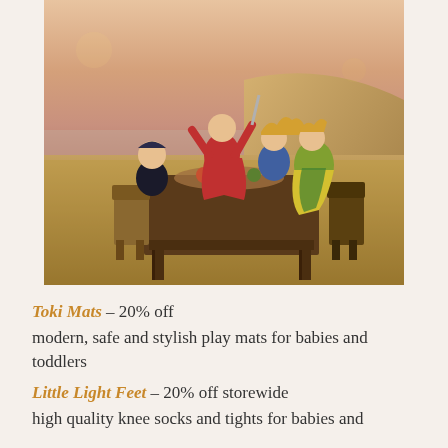[Figure (photo): Children dressed in costumes sitting and standing around a rustic wooden table outdoors at sunset near sand dunes and water, with dramatic pink and orange sky]
Toki Mats - 20% off
modern, safe and stylish play mats for babies and toddlers
Little Light Feet - 20% off storewide
high quality knee socks and tights for babies and children